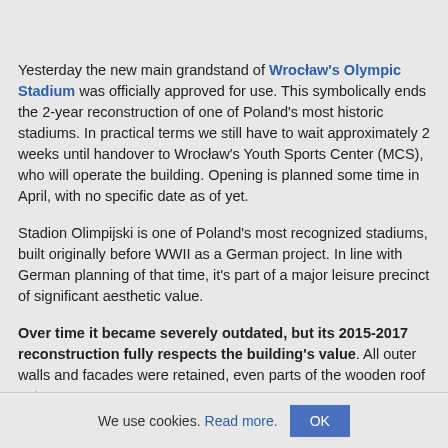Yesterday the new main grandstand of Wrocław's Olympic Stadium was officially approved for use. This symbolically ends the 2-year reconstruction of one of Poland's most historic stadiums. In practical terms we still have to wait approximately 2 weeks until handover to Wrocław's Youth Sports Center (MCS), who will operate the building. Opening is planned some time in April, with no specific date as of yet.
Stadion Olimpijski is one of Poland's most recognized stadiums, built originally before WWII as a German project. In line with German planning of that time, it's part of a major leisure precinct of significant aesthetic value.
Over time it became severely outdated, but its 2015-2017 reconstruction fully respects the building's value. All outer walls and facades were retained, even parts of the wooden roof got
We use cookies. Read more. OK